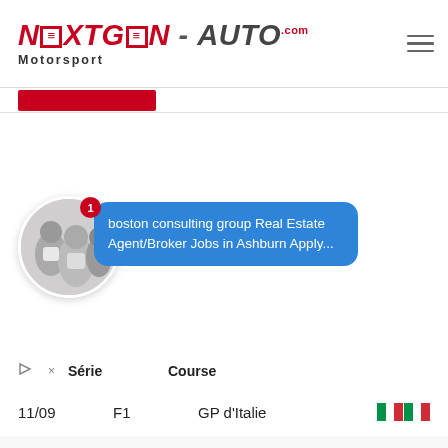NEXTGEN-AUTO.com Motorsport
[Figure (screenshot): Advertisement overlay: blue speech bubble with text 'boston consulting group Real Estate Agent/Broker Jobs in Ashburn Apply...' with circular profile photo and red badge showing '1']
| te | Série | Course |
| --- | --- | --- |
| 11/09 | F1 | GP d'Italie | 🇮🇹 |
| 1er/10 | F1 | GP de Singapour | 🇸🇬 |
| 9/10 | F1 | GP du Japon | 🇯🇵 |